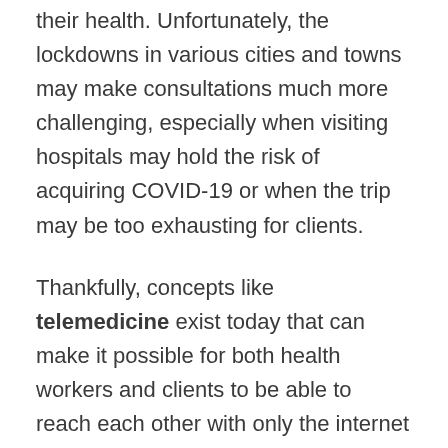their health. Unfortunately, the lockdowns in various cities and towns may make consultations much more challenging, especially when visiting hospitals may hold the risk of acquiring COVID-19 or when the trip may be too exhausting for clients.
Thankfully, concepts like telemedicine exist today that can make it possible for both health workers and clients to be able to reach each other with only the internet and modern tools.
What is Telemedicine?